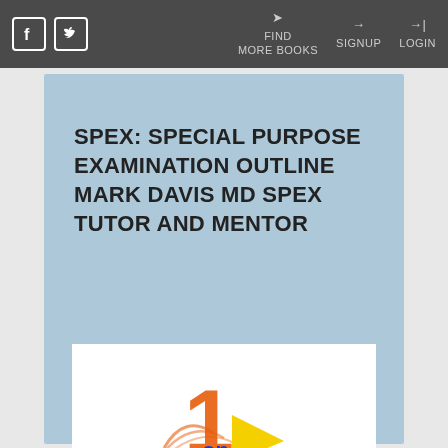Facebook | Twitter | FIND MORE BOOKS | SIGNUP | LOGIN
SPEX: SPECIAL PURPOSE EXAMINATION OUTLINE MARK DAVIS MD SPEX TUTOR AND MENTOR
[Figure (logo): 1 on 1 Tutoring Services logo with orange '1', 'on' text and yellow arrow, with red bold text 'Tutoring Services']